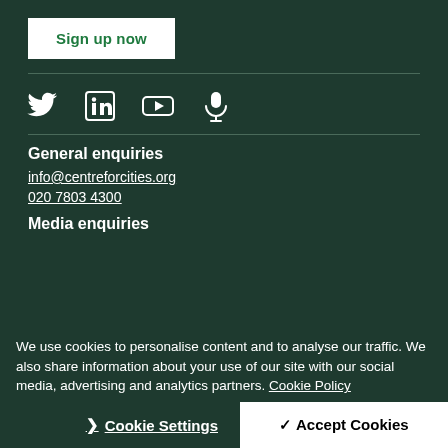Sign up now
[Figure (other): Social media icons: Twitter, LinkedIn, YouTube, Microphone/Podcast]
General enquiries
info@centreforcities.org
020 7803 4300
Media enquiries
We use cookies to personalise content and to analyse our traffic. We also share information about your use of our site with our social media, advertising and analytics partners. Cookie Policy
Cookie Settings
Accept Cookies